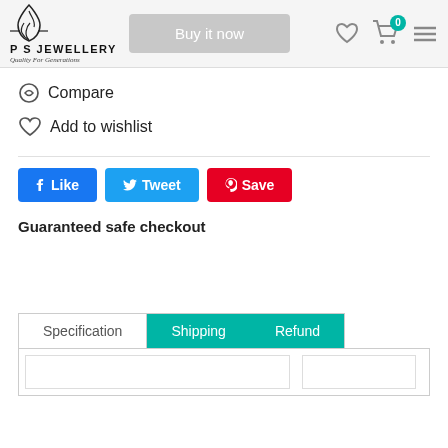[Figure (logo): PS Jewellery logo with flame/leaf icon and tagline 'Quality For Generations']
Buy it now
Compare
Add to wishlist
Like
Tweet
Save
Guaranteed safe checkout
Specification   Shipping   Refund